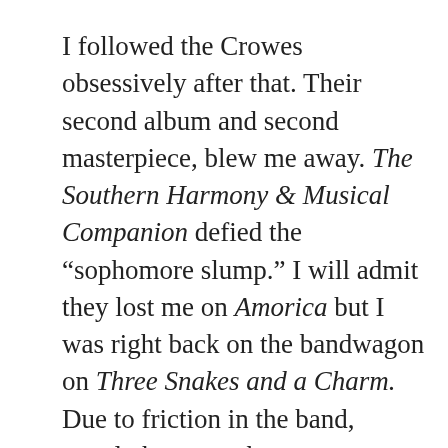I followed the Crowes obsessively after that. Their second album and second masterpiece, blew me away. The Southern Harmony & Musical Companion defied the “sophomore slump.” I will admit they lost me on Amorica but I was right back on the bandwagon on Three Snakes and a Charm. Due to friction in the band, mostly between the two Robinson brothers (The Mark of Cain: When Brothers Form Bands) the Crowes split after the experimental sounding Lions. They’d largely grown out of the blues rock idiom they’d started with. They still rocked but they’d ventured into jam-band, Grateful Dead territory more and more over the years. I think a lot of people lost track of these guys but they did reconvene and put out two great rocking, rootsy albums. We revisited the back catalog. Before the